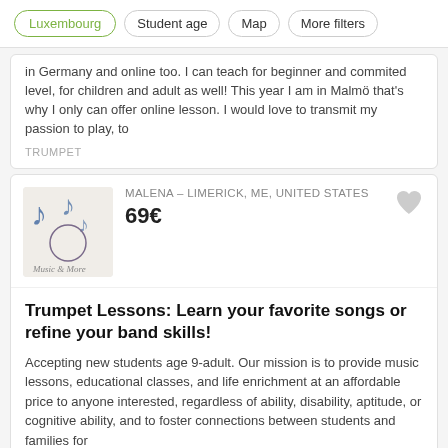Luxembourg | Student age | Map | More filters
in Germany and online too. I can teach for beginner and commited level, for children and adult as well! This year I am in Malmö that's why I only can offer online lesson. I would love to transmit my passion to play, to
TRUMPET
MALENA – LIMERICK, ME, UNITED STATES
69€
Trumpet Lessons: Learn your favorite songs or refine your band skills!
Accepting new students age 9-adult. Our mission is to provide music lessons, educational classes, and life enrichment at an affordable price to anyone interested, regardless of ability, disability, aptitude, or cognitive ability, and to foster connections between students and families for
TRUMPET
1 - 25 of 67